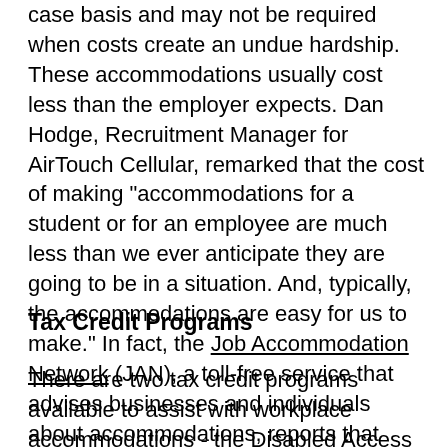case basis and may not be required when costs create an undue hardship. These accommodations usually cost less than the employer expects. Dan Hodge, Recruitment Manager for AirTouch Cellular, remarked that the cost of making "accommodations for a student or for an employee are much less than we ever anticipate they are going to be in a situation. And, typically, the accommodations are easy for us to make." In fact, the Job Accommodation Network (JAN), a toll-free service that advises businesses and individuals about accommodations, reports that almost half of all accommodations cost less than $600.
Tax Credit Programs
There are two tax credit programs available to assist with workplace accommodations - the Disabled Access Tax Credit and the Architectural Barrier Tax Deduction. Consult the following...